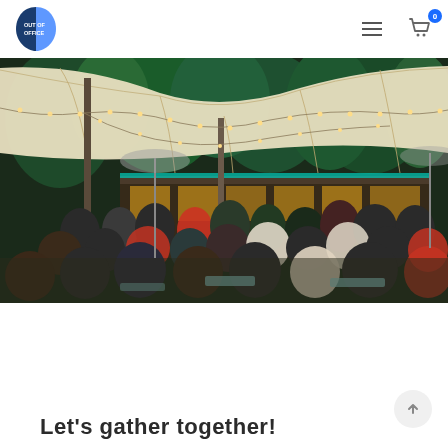Out of Office logo, navigation menu, cart with 0 items
[Figure (photo): Outdoor gathering under a large white tent with string lights, crowd of people socializing at tables, wooden building with large windows in background, surrounded by trees]
Let's gather together!